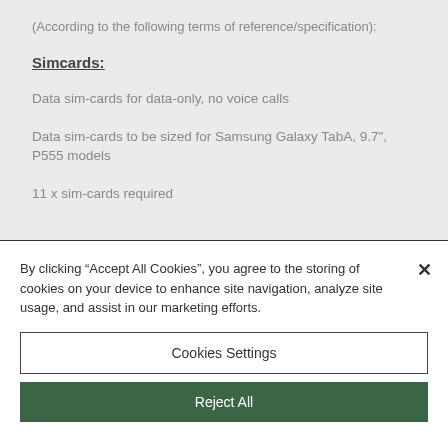(According to the following terms of reference/specification):
Simcards:
Data sim-cards for data-only, no voice calls
Data sim-cards to be sized for Samsung Galaxy TabA, 9.7", P555 models
11 x sim-cards required
By clicking “Accept All Cookies”, you agree to the storing of cookies on your device to enhance site navigation, analyze site usage, and assist in our marketing efforts.
Cookies Settings
Reject All